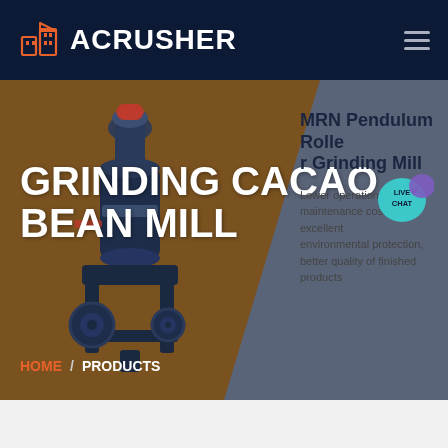ACRUSHER
GRINDING CACAO BEAN MILL
[Figure (screenshot): Industrial grinding mill machine (cacao bean mill) shown in dark blue/red color on brownish background]
MRN Pendulum Roller Grinding Mill
Lower operational & maintenance costs, excellent environmental protection, better quality of finished products
HOME / PRODUCTS